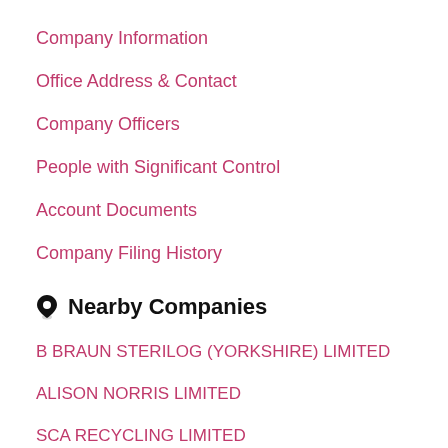Company Information
Office Address & Contact
Company Officers
People with Significant Control
Account Documents
Company Filing History
📍 Nearby Companies
B BRAUN STERILOG (YORKSHIRE) LIMITED
ALISON NORRIS LIMITED
SCA RECYCLING LIMITED
CARLTON WOODMILL LIMITED